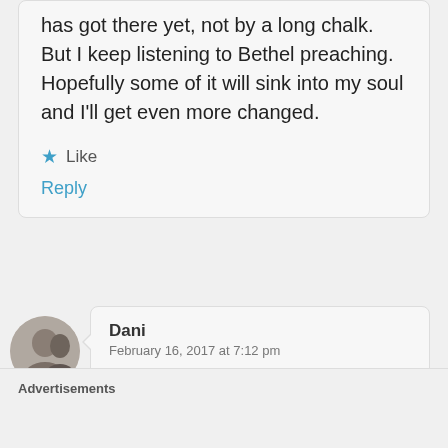has got there yet, not by a long chalk. But I keep listening to Bethel preaching. Hopefully some of it will sink into my soul and I'll get even more changed.
★ Like
Reply
[Figure (photo): Circular avatar photo of a person]
Dani
February 16, 2017 at 7:12 pm
It's amazing. God has used our
Advertisements